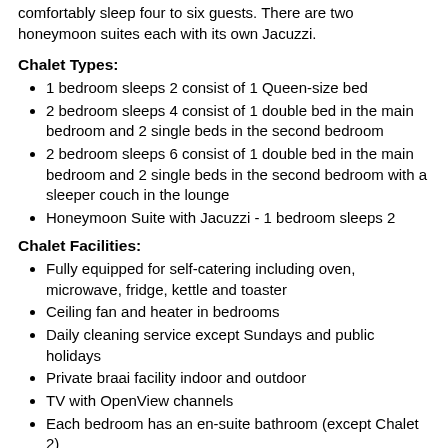comfortably sleep four to six guests. There are two honeymoon suites each with its own Jacuzzi.
Chalet Types:
1 bedroom sleeps 2 consist of 1 Queen-size bed
2 bedroom sleeps 4 consist of 1 double bed in the main bedroom and 2 single beds in the second bedroom
2 bedroom sleeps 6 consist of 1 double bed in the main bedroom and 2 single beds in the second bedroom with a sleeper couch in the lounge
Honeymoon Suite with Jacuzzi - 1 bedroom sleeps 2
Chalet Facilities:
Fully equipped for self-catering including oven, microwave, fridge, kettle and toaster
Ceiling fan and heater in bedrooms
Daily cleaning service except Sundays and public holidays
Private braai facility indoor and outdoor
TV with OpenView channels
Each bedroom has an en-suite bathroom (except Chalet 2)
Guest Facilities/Services
Games Room with pool table, fuzz ball and table tennis
Indoor heated pool
Reception and Information desk
Laundromat (service provided by resort)